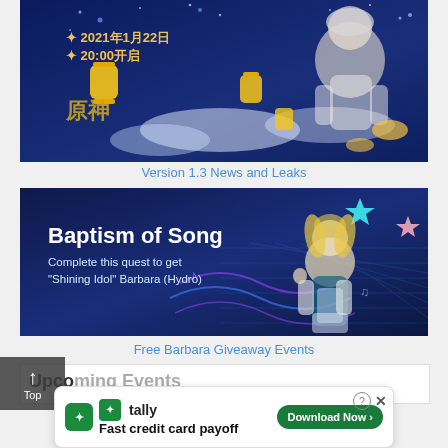[Figure (illustration): Genshin Impact Version 1.3 promotional banner showing anime characters with lanterns on a night sky background, with Chinese text '2021年1月22日 20:00开启' and '原神' logo]
Version 1.3 News and Leaks
[Figure (illustration): Genshin Impact 'Baptism of Song' event banner on dark blue background with anime character Barbara, text reads 'Baptism of Song - Complete this quest to get "Shining Idol" Barbara (Hydro)']
Free Barbara Giveaway Events
Upcoming Events